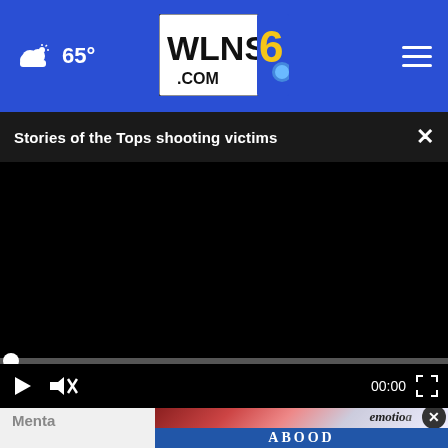65° WLNS6.COM
Stories of the Tops shooting victims
[Figure (screenshot): Black video player area with progress bar, play button, mute button, time display 00:00, and fullscreen button]
Menta
[Figure (photo): Advertisement showing emotio[n] text overlay with colorful background, ABOOD LAW FIRM 1956 blue banner, and a circular close button]